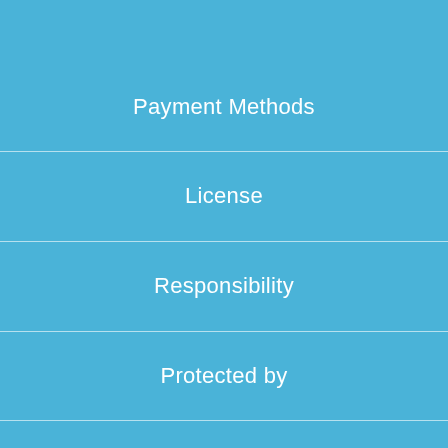Payment Methods
License
Responsibility
Protected by